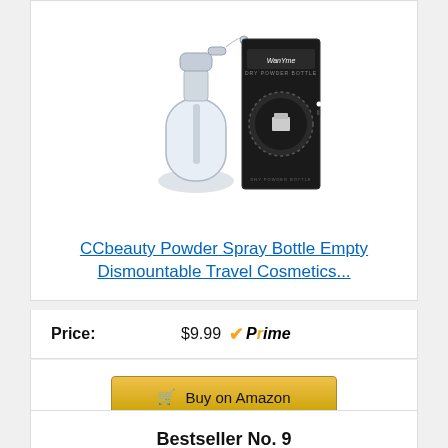[Figure (photo): CCbeauty Powder Spray Bottle product image showing a clear glass spray bottle with pump dispenser and a black product box with brand logo]
CCbeauty Powder Spray Bottle Empty Dismountable Travel Cosmetics...
Price: $9.99 Prime
Buy on Amazon
Bestseller No. 9